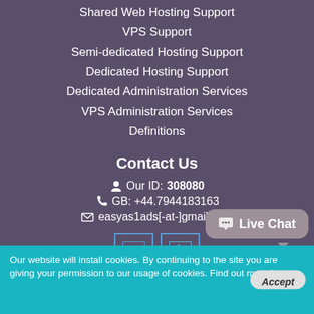Shared Web Hosting Support
VPS Support
Semi-dedicated Hosting Support
Dedicated Hosting Support
Dedicated Administration Services
VPS Administration Services
Definitions
Contact Us
Our ID: 308080
GB: +44.7944183163
easyas1ads[-at-]gmail.com
[Figure (other): Facebook and Twitter social media icon buttons]
[Figure (other): Live Chat speech bubble button]
Our website will install cookies. By continuing to the site you are giving your permission to our usage of cookies. Find out more here.